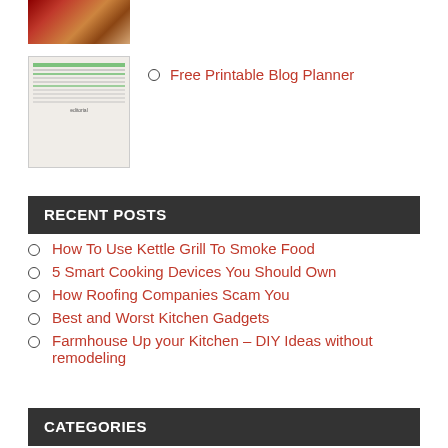[Figure (photo): Partial image of what appears to be food or kitchen items with red background, cropped at top]
Free Printable Blog Planner
[Figure (photo): Thumbnail of a printable blog planner document with green and gray lines]
RECENT POSTS
How To Use Kettle Grill To Smoke Food
5 Smart Cooking Devices You Should Own
How Roofing Companies Scam You
Best and Worst Kitchen Gadgets
Farmhouse Up your Kitchen – DIY Ideas without remodeling
CATEGORIES